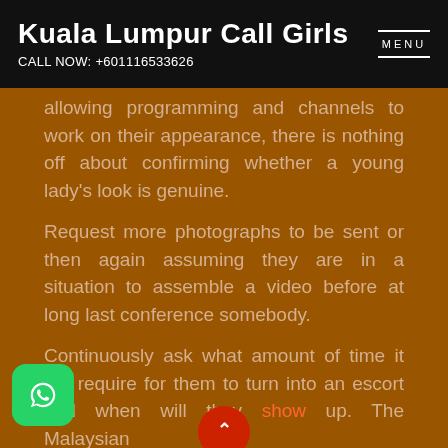Kuala Lumpur Call Girls
CALL NOW: +601116533626
allowing programming and channels to work on their appearance, there is nothing off about confirming whether a young lady's look is genuine.
Request more photographs to be sent or then again assuming they are in a situation to assemble a video before at long last conference somebody.
Continuously ask what amount of time it will require for them to turn into an escort and when will they show up. The Malaysian